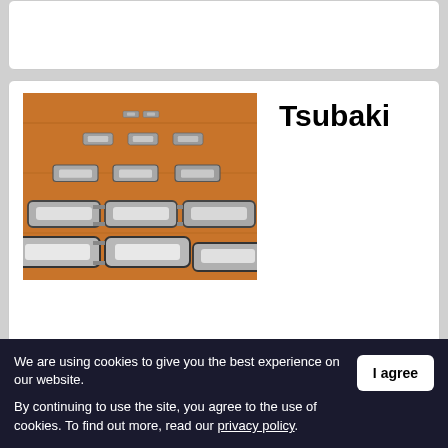[Figure (photo): Partial view of a white card/panel at the top of the page, appears to contain a logo or image (partially visible)]
[Figure (photo): Photo of industrial mining chains laid out on an orange/brown wooden surface, showing multiple rows of heavy-duty chain links with metal attachments]
Tsubaki
manufactures many underground mining chains and other relevant products
We are using cookies to give you the best experience on our website. By continuing to use the site, you agree to the use of cookies. To find out more, read our privacy policy.